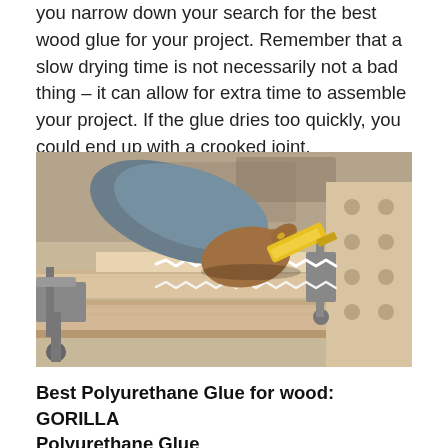you narrow down your search for the best wood glue for your project. Remember that a slow drying time is not necessarily not a bad thing – it can allow for extra time to assemble your project. If the glue dries too quickly, you could end up with a crooked joint.
[Figure (photo): A hand using a yellow spreader to apply white wood glue in a zigzag pattern on wooden boards held together by metal clamps in a woodworking shop.]
Best Polyurethane Glue for wood: GORILLA Polyurethane Glue